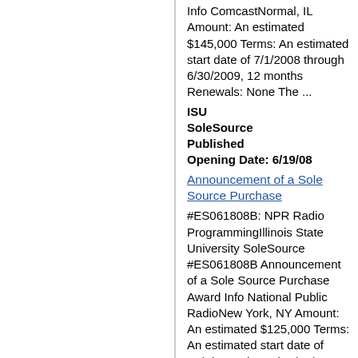Info ComcastNormal, IL Amount: An estimated $145,000 Terms: An estimated start date of 7/1/2008 through 6/30/2009, 12 months Renewals: None The ...
ISU
SoleSource
Published
Opening Date: 6/19/08
Announcement of a Sole Source Purchase
#ES061808B: NPR Radio ProgrammingIllinois State University SoleSource #ES061808B Announcement of a Sole Source Purchase Award Info National Public RadioNew York, NY Amount: An estimated $125,000 Terms: An estimated start date of 10/1/2008 through 9/30/2009, 12 months Renewals: None The Universit...
ISU
SoleSource
Published
Opening Date: 6/19/08